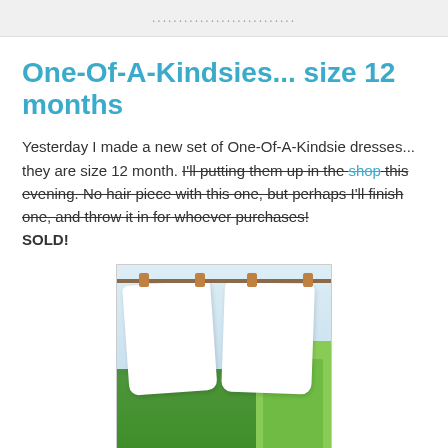........................
One-Of-A-Kindsies... size 12 months
Yesterday I made a new set of One-Of-A-Kindsie dresses... they are size 12 month. I'll putting them up in the shop this evening.  No hair piece with this one, but perhaps I'll finish one, and throw it in for whoever purchases! SOLD!
[Figure (photo): Photo of white baby onesies hanging on a rod with clothespins, with green fabric/dresses visible at the bottom]